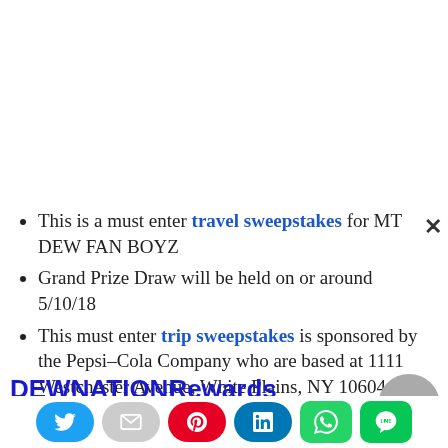This is a must enter travel sweepstakes for MT DEW FAN BOYZ
Grand Prize Draw will be held on or around 5/10/18
This must enter trip sweepstakes is sponsored by the Pepsi-Cola Company who are based at 1111 Westchester Avenue, White Plains, NY 10604
Limit one entry per person per day
DEWNATIONRewards Grand Prize? (More Details)